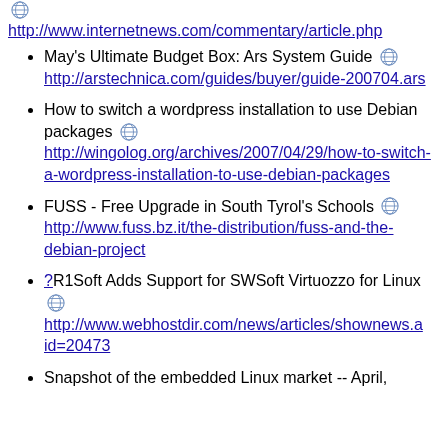http://www.internetnews.com/commentary/article.php
May's Ultimate Budget Box: Ars System Guide
http://arstechnica.com/guides/buyer/guide-200704.ars
How to switch a wordpress installation to use Debian packages
http://wingolog.org/archives/2007/04/29/how-to-switch-a-wordpress-installation-to-use-debian-packages
FUSS - Free Upgrade in South Tyrol's Schools
http://www.fuss.bz.it/the-distribution/fuss-and-the-debian-project
?R1Soft Adds Support for SWSOft Virtuozzo for Linux
http://www.webhostdir.com/news/articles/shownews.a id=20473
Snapshot of the embedded Linux market -- April,